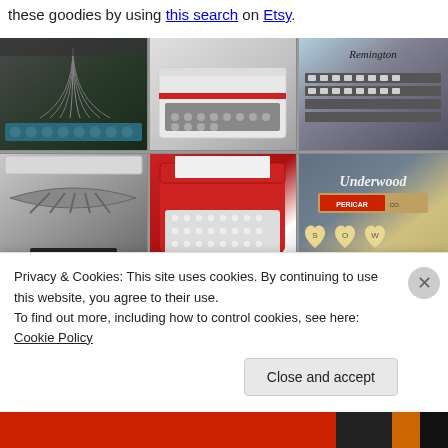these goodies by using this search on Etsy.
[Figure (photo): A 2x3 grid of six vintage typewriter photographs. Top row: close-up of typewriter type basket keys with teal accents; white portable typewriter with red accent strip; Remington typewriter keyboard close-up in blue/teal color. Bottom row: close-up of typewriter mechanism showing type bars; red portable typewriter (Ssa brand) with white keys on top view; Underwood typewriter logo close-up with Pericar branding and cream-colored heart-shaped keys.]
Privacy & Cookies: This site uses cookies. By continuing to use this website, you agree to their use.
To find out more, including how to control cookies, see here: Cookie Policy